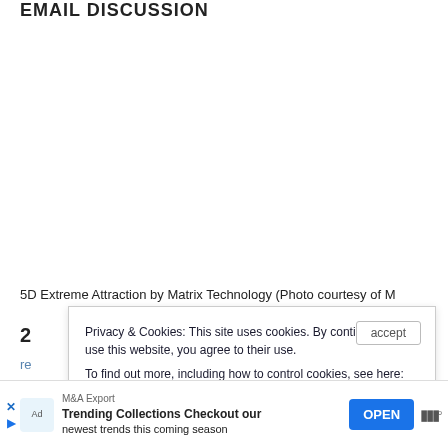EMAIL DISCUSSION
5D Extreme Attraction by Matrix Technology (Photo courtesy of M
Privacy & Cookies: This site uses cookies. By continuing to use this website, you agree to their use.
To find out more, including how to control cookies, see here:
Cookie Policy
[Figure (screenshot): Advertisement banner: M&A Export - Trending Collections Checkout our newest trends this coming season, with OPEN button]
re s. Roth